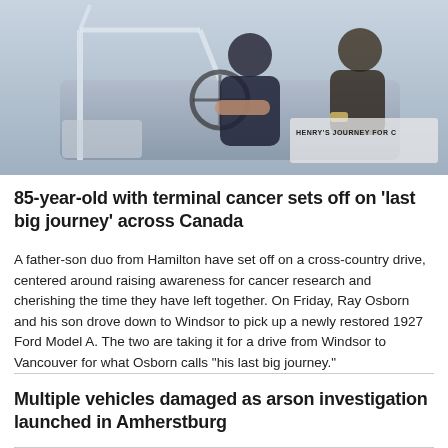[Figure (photo): A man sitting in a vintage car, with another person visible. A sign reading 'HENRY'S JOURNEY FOR C...' is visible on the car.]
85-year-old with terminal cancer sets off on 'last big journey' across Canada
A father-son duo from Hamilton have set off on a cross-country drive, centered around raising awareness for cancer research and cherishing the time they have left together. On Friday, Ray Osborn and his son drove down to Windsor to pick up a newly restored 1927 Ford Model A. The two are taking it for a drive from Windsor to Vancouver for what Osborn calls "his last big journey."
Multiple vehicles damaged as arson investigation launched in Amherstburg
Municipal election kicks off with hotly contested